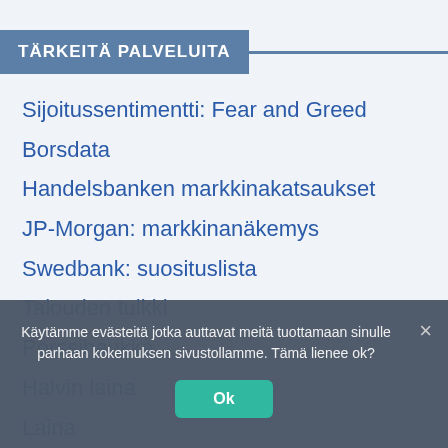TÄRKEITÄ PALVELUITA
Sijoitussentimentti: Fear and Greed
Borsdata
Handelsbanken markkinakatsaukset
JP-Morgan: markkinanäkemys
Swedbank: suosituslista
Talouden tulkki
Pörssihaukka
Halvin laina
Laina
Yrityslaika
Lainando
ShortNordic
Käytämme evästeitä jotka auttavat meitä tuottamaan sinulle parhaan kokemuksen sivustollamme. Tämä lienee ok?